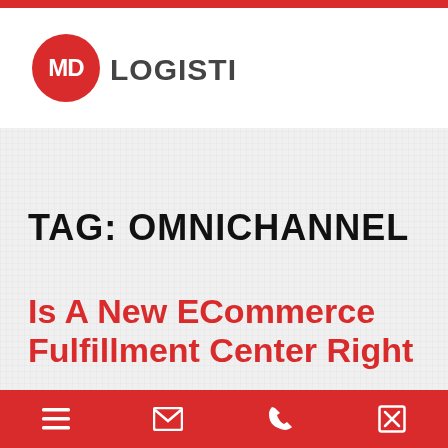[Figure (logo): MD Logistics logo: red circle with white 'MD' text, followed by 'LOGISTICS' in dark gray bold text]
TAG: OMNICHANNEL
Is A New ECommerce Fulfillment Center Right
Navigation bar with menu, email, phone, and close icons